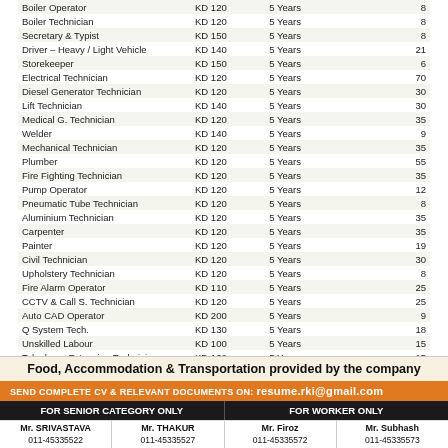| Position | Salary | Experience | Vacancies |
| --- | --- | --- | --- |
| Boiler Operator | KD 120 | 5 Years | 8 |
| Boiler Technician | KD 120 | 5 Years | 8 |
| Secretary & Typist | KD 150 | 5 Years | 8 |
| Driver – Heavy / Light Vehicle | KD 140 | 5 Years | 21 |
| Storekeeper | KD 150 | 5 Years | 6 |
| Electrical Technician | KD 120 | 5 Years | 70 |
| Diesel Generator Technician | KD 120 | 5 Years | 30 |
| Lift Technician | KD 140 | 5 Years | 30 |
| Medical G. Technician | KD 120 | 5 Years | 35 |
| Welder | KD 140 | 5 Years | 9 |
| Mechanical Technician | KD 120 | 5 Years | 35 |
| Plumber | KD 120 | 5 Years | 55 |
| Fire Fighting Technician | KD 120 | 5 Years | 35 |
| Pump Operator | KD 120 | 5 Years | 12 |
| Pneumatic Tube Technician | KD 120 | 5 Years | 8 |
| Aluminium Technician | KD 120 | 5 Years | 35 |
| Carpenter | KD 120 | 5 Years | 35 |
| Painter | KD 120 | 5 Years | 19 |
| Civil Technician | KD 120 | 5 Years | 30 |
| Upholstery Technician | KD 120 | 5 Years | 8 |
| Fire Alarm Operator | KD 110 | 5 Years | 25 |
| CCTV & Call S. Technician | KD 120 | 5 Years | 25 |
| Auto CAD Operator | KD 200 | 5 Years | 9 |
| Q System Tech. | KD 130 | 5 Years | 18 |
| Unskilled Labour | KD 100 | 5 Years | 15 |
| Telephone Extension Technician | KD 120 | 5 Years | 15 |
| Bas Technician | KD 150 | 5 Years | 8 |
| Telephone Foreman | KD 200 | 10 Years | 9 |
Food, Accommodation & Transportation provided by the company
SEND COMPLETE CV & RELEVANT DOCUMENTS ON: resume.rki@gmail.com
FOR SENIOR CATEGORY ONLY | FOR WORKER ONLY
Mr. SRIVASTAVA  Mr. THAKUR  Mr. Firoz  Mr. Subhash
011-45335522  011-45335527  011-45335572  011-45335573